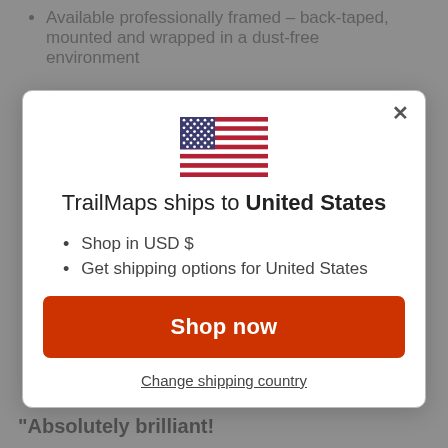Available professionally framed – back-taped, mounted and wrapped in a dust-free environment
[Figure (illustration): US flag emoji icon]
TrailMaps ships to United States
Shop in USD $
Get shipping options for United States
Shop now
Change shipping country
"Absolutely brilliant!